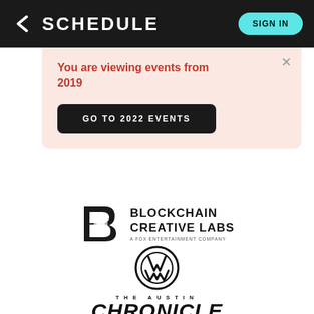K SCHEDULE
You are viewing events from 2019
GO TO 2022 EVENTS
[Figure (logo): Blockchain Creative Labs logo — a stylized B shape with a glowing center, next to the text BLOCKCHAIN CREATIVE LABS / A FOX ENTERTAINMENT COMPANY]
[Figure (logo): Volkswagen VW circular logo]
[Figure (logo): The Austin Chronicle logo in bold italic serif font]
[Figure (logo): PORSCHE UNSEEN logo text]